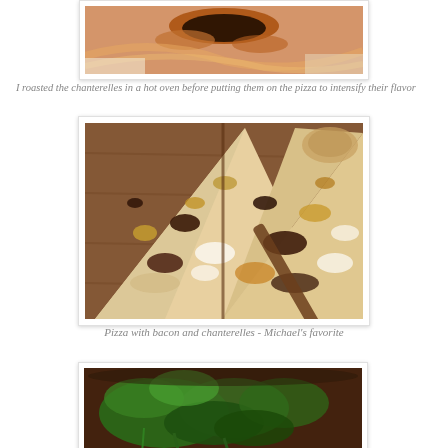[Figure (photo): Close-up of roasted chanterelle mushrooms on pizza dough, golden and orange colored, viewed from top]
I roasted the chanterelles in a hot oven before putting them on the pizza to intensify their flavor
[Figure (photo): Sliced pizza with bacon and chanterelles on a wooden cutting board, with melted cheese, viewed from above]
Pizza with bacon and chanterelles - Michael's favorite
[Figure (photo): Green leafy vegetables (kale or spinach) in a bowl or pan, partially visible at the bottom of the page]